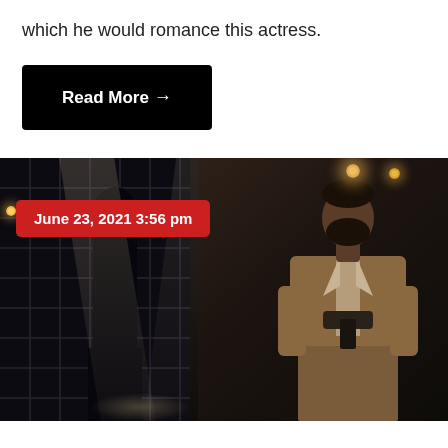which he would romance this actress.
Read More →
[Figure (photo): A cinematic still from what appears to be KGF Chapter 2, showing an actor in a brown suit holding a weapon, standing in a dramatic dark scene with lattice walls, light rays, and warm-toned atmospheric lighting. A red date badge reads 'June 23, 2021 3:56 pm' overlaid in the top-left area of the image.]
June 23, 2021 3:56 pm